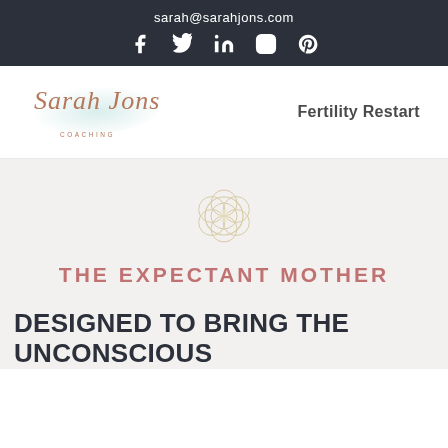sarah@sarahjons.com
[Figure (logo): Social media icons: Facebook, Twitter, LinkedIn, Instagram, Pinterest in white on dark background]
[Figure (logo): Sarah Jons script logo with teal watercolor background]
Fertility Restart
[Figure (illustration): Flower of life sacred geometry icon in cream/gold tones]
THE EXPECTANT MOTHER
DESIGNED TO BRING THE UNCONSCIOUS